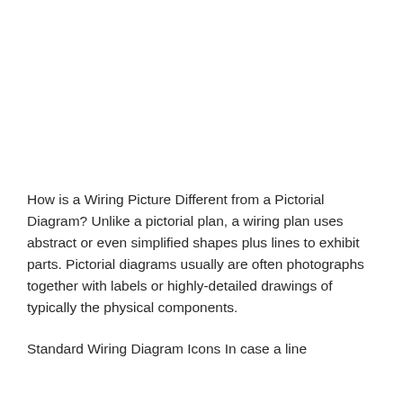How is a Wiring Picture Different from a Pictorial Diagram? Unlike a pictorial plan, a wiring plan uses abstract or even simplified shapes plus lines to exhibit parts. Pictorial diagrams usually are often photographs together with labels or highly-detailed drawings of typically the physical components.
Standard Wiring Diagram Icons In case a line